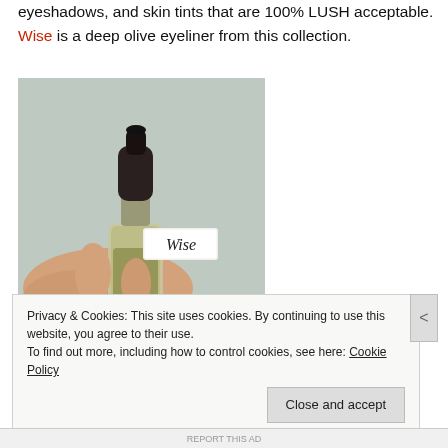eyeshadows, and skin tints that are 100% LUSH acceptable. Wise is a deep olive eyeliner from this collection.
[Figure (photo): A hand holding a small dropper bottle with an olive-colored liquid, labeled 'Wise' on a white tag. The bottle has a black dropper cap. Background is a light blue-grey fabric.]
Privacy & Cookies: This site uses cookies. By continuing to use this website, you agree to their use.
To find out more, including how to control cookies, see here: Cookie Policy
Close and accept
REPORT THIS AD